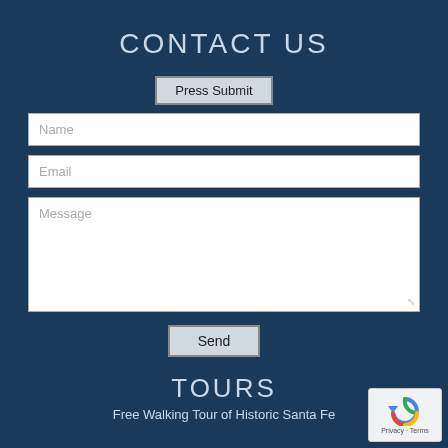CONTACT US
Press Submit
Name
Email
Message
Send
TOURS
Free Walking Tour of Historic Santa Fe
[Figure (logo): reCAPTCHA badge with Privacy and Terms text]